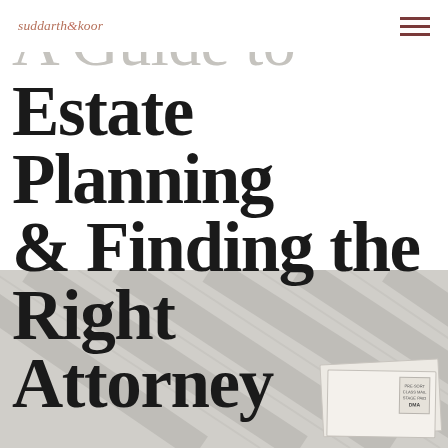suddarth & koor
A Guide to Estate Planning & Finding the Right Attorney
[Figure (photo): Close-up photograph of pale grey wooden slat fence or siding planks running diagonally, with an envelope or mail piece partially visible in the lower right corner]